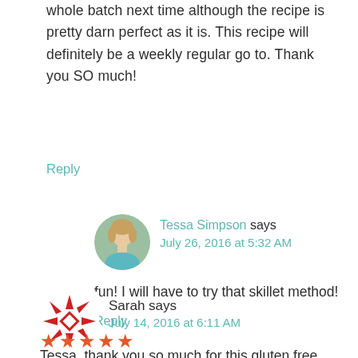whole batch next time although the recipe is pretty darn perfect as it is. This recipe will definitely be a weekly regular go to. Thank you SO much!
Reply
[Figure (photo): Circular avatar photo of Tessa Simpson, a woman with light brown hair]
Tessa Simpson says July 26, 2016 at 5:32 AM
fun! I will have to try that skillet method!
Reply
[Figure (logo): Red geometric/snowflake style avatar icon for Sarah]
Sarah says July 14, 2016 at 6:11 AM
★★★★★
Tessa, thank you so much for this gluten free AND